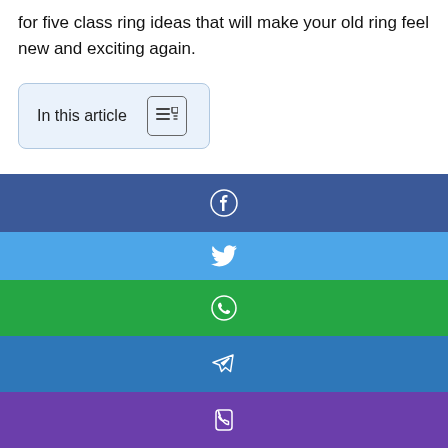for five class ring ideas that will make your old ring feel new and exciting again.
[Figure (other): Table of contents toggle button box labeled 'In this article' with a lines/list icon]
1. Resize Your Ring
When you dig your old class ring out of storage, you may be surprised to find it doesn't fit. Don't panic! The seller of your ring probably provides free resizing.
[Figure (infographic): Social share buttons: Facebook (dark blue), Twitter (light blue), WhatsApp (green), Telegram (blue), Phone/viber (purple)]